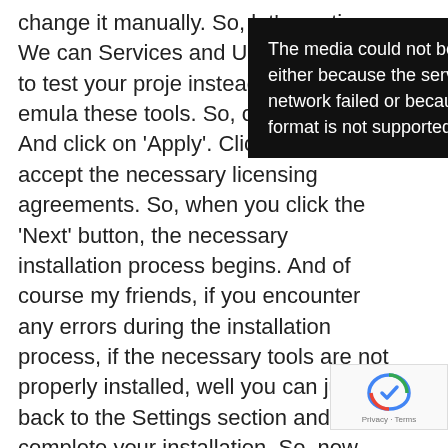change it manually. So, let's continue. We can Services and USB Driv want to test your proje instead of on an emula these tools. So, over th And click on 'Apply'. Click 'OK'. And accept the necessary licensing agreements. So, when you click the 'Next' button, the necessary installation process begins. And of course my friends, if you encounter any errors during the installation process, if the necessary tools are not properly installed, well you can just go back to the Settings section and complete your installation. So, now that the download process is over, I'll just press the 'Finish' button. And sure enough my friends, that completes this edition of the settings show.

Now let's have a look at some of these other tabs
[Figure (screenshot): Black overlay box with white text: 'The media could not be loaded, either because the server or network failed or because the format is not supported.']
[Figure (logo): reCAPTCHA logo with Privacy and Terms text]